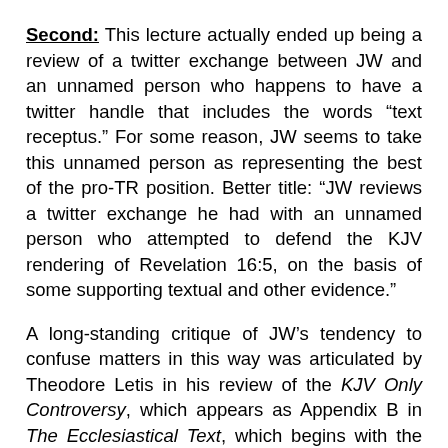Second: This lecture actually ended up being a review of a twitter exchange between JW and an unnamed person who happens to have a twitter handle that includes the words “text receptus.” For some reason, JW seems to take this unnamed person as representing the best of the pro-TR position. Better title: “JW reviews a twitter exchange he had with an unnamed person who attempted to defend the KJV rendering of Revelation 16:5, on the basis of some supporting textual and other evidence.”
A long-standing critique of JW’s tendency to confuse matters in this way was articulated by Theodore Letis in his review of the KJV Only Controversy, which appears as Appendix B in The Ecclesiastical Text, which begins with the caustic observation, “James White and Gail Riplinger are both cut from the same bolt of cloth.…” This lecture shows that JW apparently has not yet profited from